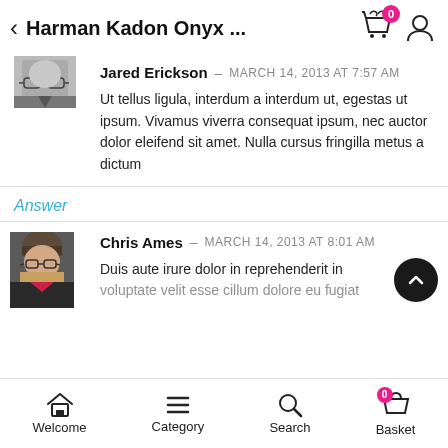Harman Kadon Onyx ...
[Figure (photo): Grayscale avatar photo of a person with glasses]
Jared Erickson – MARCH 14, 2013 AT 7:57 AM
Ut tellus ligula, interdum a interdum ut, egestas ut ipsum. Vivamus viverra consequat ipsum, nec auctor dolor eleifend sit amet. Nulla cursus fringilla metus a dictum
Answer
[Figure (photo): Color photo avatar of Chris Ames, a person with glasses and a hat]
Chris Ames – MARCH 14, 2013 AT 8:01 AM
Duis aute irure dolor in reprehenderit in voluptate velit esse cillum dolore eu fugiat
Welcome   Category   Search   Basket